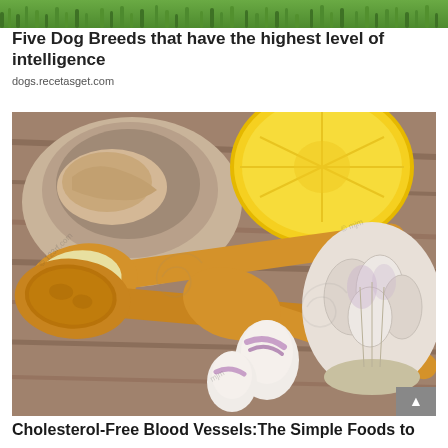[Figure (photo): Partial photo at top of page showing green foliage/grass, cropped banner image]
Five Dog Breeds that have the highest level of intelligence
dogs.recetasget.com
[Figure (photo): Stock photo of wooden spoons with minced garlic, ground spice/ginger powder, garlic cloves, half lemon, ginger root in a clay bowl on a wooden cutting board]
Cholesterol-Free Blood Vessels:The Simple Foods to